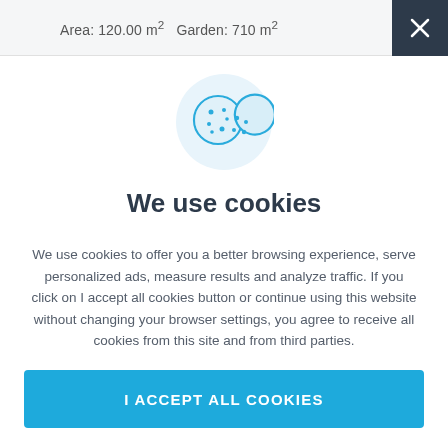Area: 120.00 m²   Garden: 710 m²
[Figure (illustration): Cookie icon: two overlapping cookie/biscuit shapes in blue outline on a light blue circular background]
We use cookies
We use cookies to offer you a better browsing experience, serve personalized ads, measure results and analyze traffic. If you click on I accept all cookies button or continue using this website without changing your browser settings, you agree to receive all cookies from this site and from third parties.
I ACCEPT ALL COOKIES